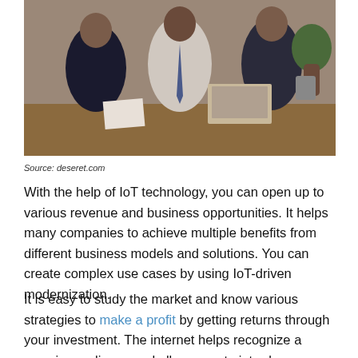[Figure (photo): Three businessmen in suits standing around a desk with a laptop, reviewing documents in an office setting.]
Source: deseret.com
With the help of IoT technology, you can open up to various revenue and business opportunities. It helps many companies to achieve multiple benefits from different business models and solutions. You can create complex use cases by using IoT-driven modernization.
It is easy to study the market and know various strategies to make a profit by getting returns through your investment. The internet helps recognize a massive audience and allows you to introduce your brand and products.